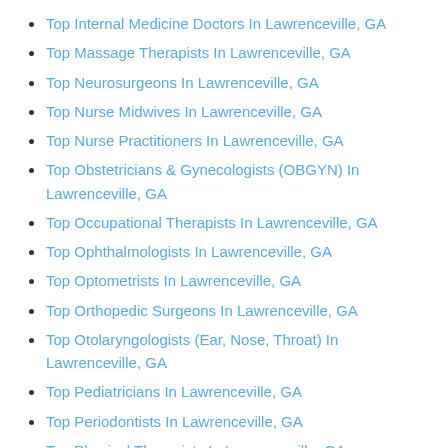Top Internal Medicine Doctors In Lawrenceville, GA
Top Massage Therapists In Lawrenceville, GA
Top Neurosurgeons In Lawrenceville, GA
Top Nurse Midwives In Lawrenceville, GA
Top Nurse Practitioners In Lawrenceville, GA
Top Obstetricians & Gynecologists (OBGYN) In Lawrenceville, GA
Top Occupational Therapists In Lawrenceville, GA
Top Ophthalmologists In Lawrenceville, GA
Top Optometrists In Lawrenceville, GA
Top Orthopedic Surgeons In Lawrenceville, GA
Top Otolaryngologists (Ear, Nose, Throat) In Lawrenceville, GA
Top Pediatricians In Lawrenceville, GA
Top Periodontists In Lawrenceville, GA
Top Physical Therapists In Lawrenceville, GA
Top Plastic Surgeons In Lawrenceville, GA
Top Podiatric Surgeons In Lawrenceville, GA
Top Podiatrists In Lawrenceville, GA